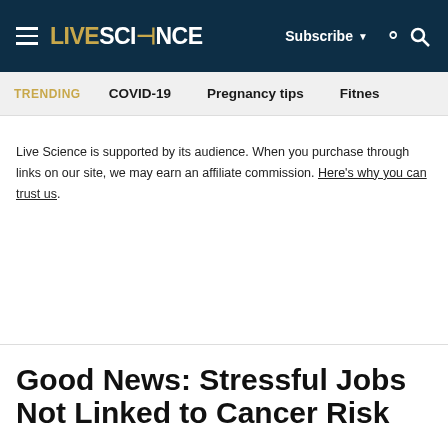LIVE SCIENCE | Subscribe | Search
TRENDING   COVID-19   Pregnancy tips   Fitnes
Live Science is supported by its audience. When you purchase through links on our site, we may earn an affiliate commission. Here's why you can trust us.
Good News: Stressful Jobs Not Linked to Cancer Risk